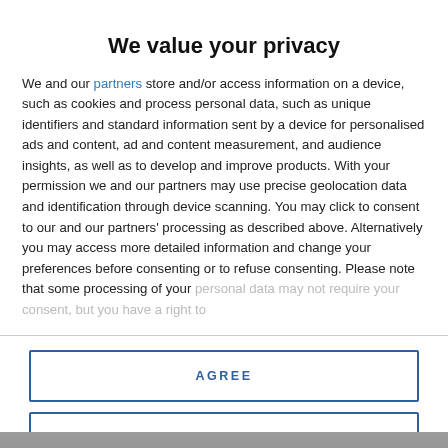[Figure (photo): Partial photo strip at the top of the page, showing a blurred image background]
We value your privacy
We and our partners store and/or access information on a device, such as cookies and process personal data, such as unique identifiers and standard information sent by a device for personalised ads and content, ad and content measurement, and audience insights, as well as to develop and improve products. With your permission we and our partners may use precise geolocation data and identification through device scanning. You may click to consent to our and our partners' processing as described above. Alternatively you may access more detailed information and change your preferences before consenting or to refuse consenting. Please note that some processing of your personal data may not require your consent, but you have a right to
AGREE
MORE OPTIONS
[Figure (photo): Partial photo strip at the bottom of the page]